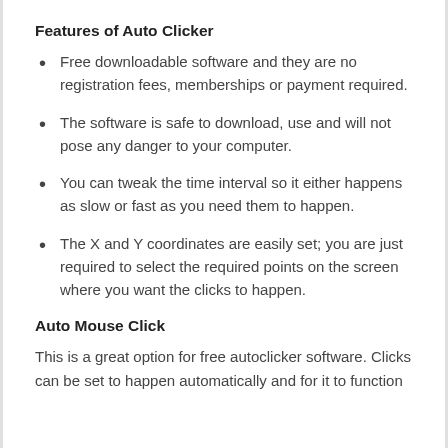Features of Auto Clicker
Free downloadable software and they are no registration fees, memberships or payment required.
The software is safe to download, use and will not pose any danger to your computer.
You can tweak the time interval so it either happens as slow or fast as you need them to happen.
The X and Y coordinates are easily set; you are just required to select the required points on the screen where you want the clicks to happen.
Auto Mouse Click
This is a great option for free autoclicker software. Clicks can be set to happen automatically and for it to function